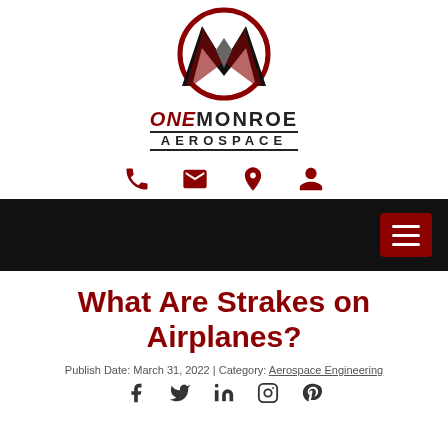[Figure (logo): One Monroe Aerospace logo with stylized M inside a dark red circle and brand name below]
[Figure (infographic): Row of four dark red icons: phone, envelope, map pin, person/user]
[Figure (infographic): Black navigation bar with dark red hamburger menu button on the right]
What Are Strakes on Airplanes?
Publish Date: March 31, 2022 | Category: Aerospace Engineering
[Figure (infographic): Social share icons: Facebook, Twitter, LinkedIn, Instagram, Pinterest]